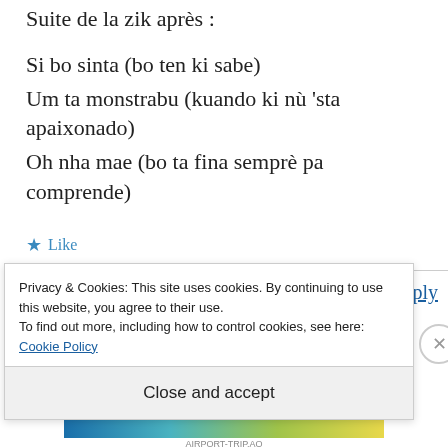Suite de la zik après :
Si bo sinta (bo ten ki sabe)
Um ta monstrabu (kuando ki nù 'sta apaixonado)
Oh nha mae (bo ta fina semprè pa comprende)
★ Like
Log in to Reply
Privacy & Cookies: This site uses cookies. By continuing to use this website, you agree to their use.
To find out more, including how to control cookies, see here: Cookie Policy
Close and accept